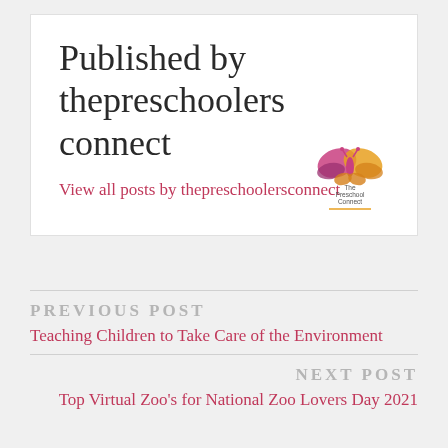Published by thepreschoolers connect
View all posts by thepreschoolersconnect
[Figure (logo): The Preschool Connect logo — butterfly shape in pink/purple/yellow with text 'The Preschool Connect' below]
PREVIOUS POST
Teaching Children to Take Care of the Environment
NEXT POST
Top Virtual Zoo's for National Zoo Lovers Day 2021